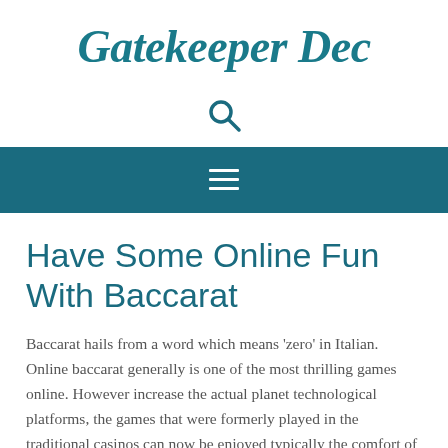Gatekeeper Dec
[Figure (other): Search icon (magnifying glass)]
[Figure (other): Navigation hamburger menu icon (three horizontal white lines on teal background bar)]
Have Some Online Fun With Baccarat
Baccarat hails from a word which means 'zero' in Italian. Online baccarat generally is one of the most thrilling games online. However increase the actual planet technological platforms, the games that were formerly played in the traditional casinos can now be enjoyed typically the comfort of your home. Initially the